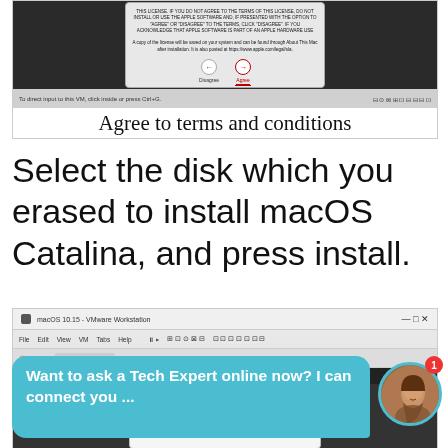[Figure (screenshot): VMware Workstation window showing macOS license agreement dialog with Disagree and Agree buttons, with status bar at bottom showing 'To direct input to this VM, click inside or press Ctrl+G']
Agree to terms and conditions
Select the disk which you erased to install macOS Catalina, and press install.
[Figure (screenshot): VMware Workstation window showing macOS 10.15 installation with Install macOS Catalina dialog and macOS Catalina logo visible]